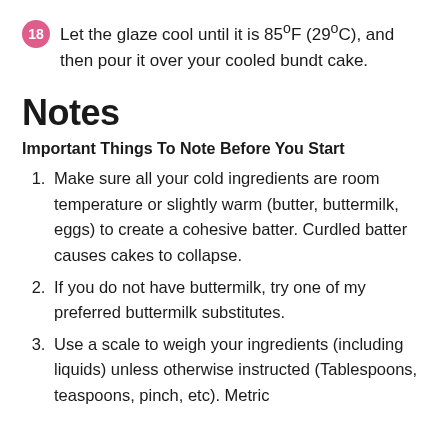18 Let the glaze cool until it is 85ºF (29ºC), and then pour it over your cooled bundt cake.
Notes
Important Things To Note Before You Start
1. Make sure all your cold ingredients are room temperature or slightly warm (butter, buttermilk, eggs) to create a cohesive batter. Curdled batter causes cakes to collapse.
2. If you do not have buttermilk, try one of my preferred buttermilk substitutes.
3. Use a scale to weigh your ingredients (including liquids) unless otherwise instructed (Tablespoons, teaspoons, pinch, etc). Metric